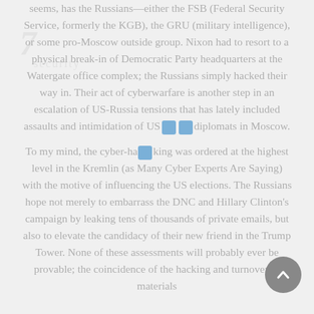seems, has the Russians—either the FSB (Federal Security Service, formerly the KGB), the GRU (military intelligence), or some pro-Moscow outside group. Nixon had to resort to a physical break-in of Democratic Party headquarters at the Watergate office complex; the Russians simply hacked their way in. Their act of cyberwarfare is another step in an escalation of US-Russia tensions that has lately included assaults and intimidation of US diplomats in Moscow.

To my mind, the cyber-hacking was ordered at the highest level in the Kremlin (as Many Cyber Experts Are Saying) with the motive of influencing the US elections. The Russians hope not merely to embarrass the DNC and Hillary Clinton's campaign by leaking tens of thousands of private emails, but also to elevate the candidacy of their new friend in the Trump Tower. None of these assessments will probably ever be provable; the coincidence of the hacking and turnover of materials